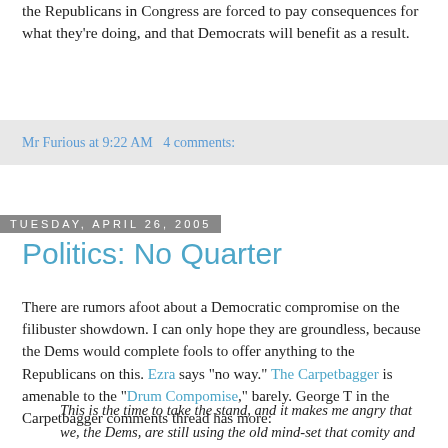the Republicans in Congress are forced to pay consequences for what they're doing, and that Democrats will benefit as a result.
Mr Furious at 9:22 AM   4 comments:
Tuesday, April 26, 2005
Politics: No Quarter
There are rumors afoot about a Democratic compromise on the filibuster showdown. I can only hope they are groundless, because the Dems would complete fools to offer anything to the Republicans on this. Ezra says "no way." The Carpetbagger is amenable to the "Drum Compomise," barely. George T in the Carpetbagger comments thread has more:
This is the time to take the stand, and it makes me angry that we, the Dems, are still using the old mind-set that comity and reason stand for something in our political environment. That